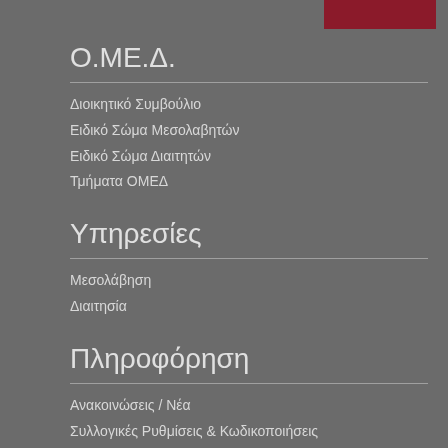Ο.ΜΕ.Δ.
Διοικητικό Συμβούλιο
Ειδικό Σώμα Μεσολαβητών
Ειδικό Σώμα Διαιτητών
Τμήματα ΟΜΕΔ
Υπηρεσίες
Μεσολάβηση
Διαιτησία
Πληροφόρηση
Ανακοινώσεις / Νέα
Συλλογικές Ρυθμίσεις & Κωδικοποιήσεις
Σεμινάρια Εκπαίδευσης
Στατιστικά Στοιχεία
Νομοθεσία
Κατάλογος Βιβλιοθήκης